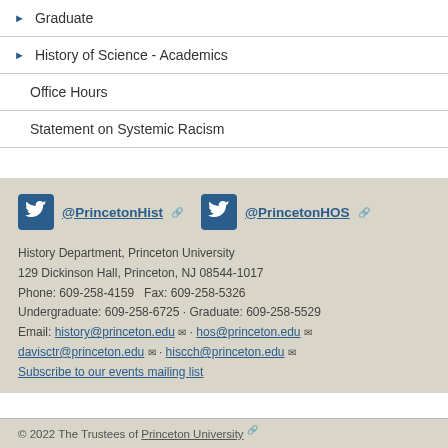Graduate
History of Science - Academics
Office Hours
Statement on Systemic Racism
@PrincetonHist  @PrincetonHOS
History Department, Princeton University
129 Dickinson Hall, Princeton, NJ 08544-1017
Phone: 609-258-4159   Fax: 609-258-5326
Undergraduate: 609-258-6725 · Graduate: 609-258-5529
Email: history@princeton.edu · hos@princeton.edu
davisctr@princeton.edu · hiscch@princeton.edu
Subscribe to our events mailing list
© 2022 The Trustees of Princeton University